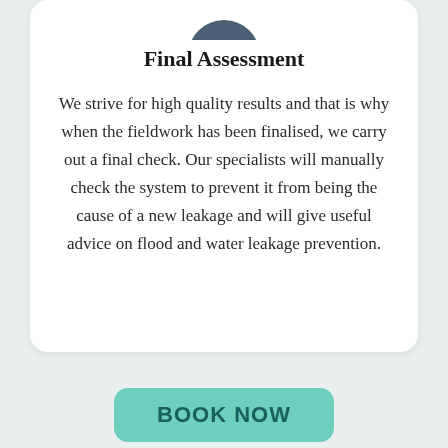[Figure (illustration): Partial dark teal/navy circular icon at the top of the card, cropped at the top edge]
Final Assessment
We strive for high quality results and that is why when the fieldwork has been finalised, we carry out a final check. Our specialists will manually check the system to prevent it from being the cause of a new leakage and will give useful advice on flood and water leakage prevention.
[Figure (other): Green-teal rounded rectangle button with bold teal text reading BOOK NOW]